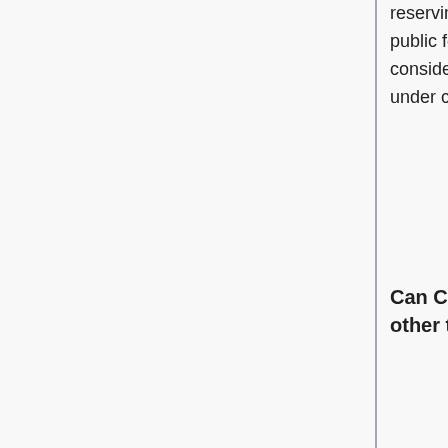reserving other rights. Those who want to make their work available to the public for limited kinds of uses while preserving their copyright may want to consider using CC licenses. Others who want to reserve all of their rights under copyright law should not use CC licenses.
Can Creative Commons give legal advice about its licenses or other tools, or help with CC license enforcement?
No. Creative Commons is not a law firm and does not provide legal advice or legal services. CC is similar to a self-help service that offers free, form-based legal documents for others to use. CC also provides a jurisdiction database where you can compare the international licenses (formerly known at the